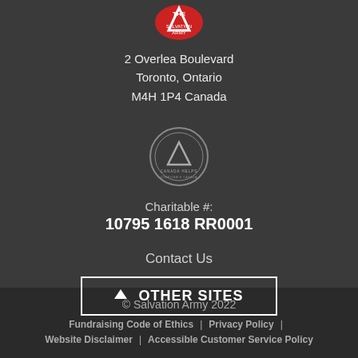[Figure (logo): Salvation Army red shield logo at top]
2 Overlea Boulevard
Toronto, Ontario
M4H 1P4 Canada
[Figure (logo): Canada Helps / Charitable organization circular seal logo]
Charitable #:
10795 1618 RR0001
Contact Us
^ OTHER SITES
© Salvation Army 2022
Fundraising Code of Ethics | Privacy Policy | Website Disclaimer | Accessible Customer Service Policy